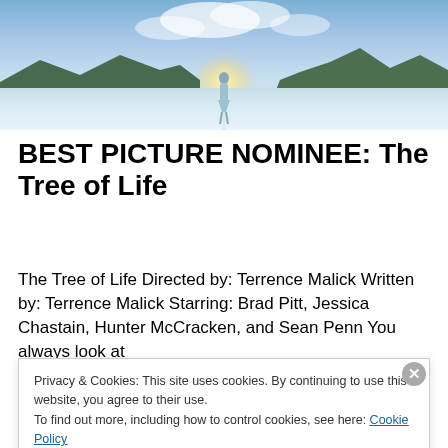[Figure (photo): A cinematic wide-angle shot of a woman in a light blue dress walking across a vast salt flat, with mountains in the background and a bright sun/sky above.]
BEST PICTURE NOMINEE: The Tree of Life
The Tree of Life Directed by: Terrence Malick Written by: Terrence Malick Starring: Brad Pitt, Jessica Chastain, Hunter McCracken, and Sean Penn You always look at
Privacy & Cookies: This site uses cookies. By continuing to use this website, you agree to their use.
To find out more, including how to control cookies, see here: Cookie Policy
Close and accept